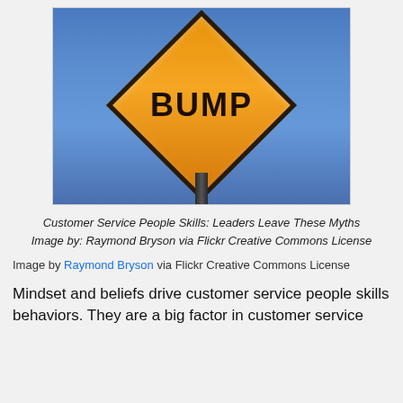[Figure (photo): A yellow diamond-shaped BUMP road warning sign on a pole against a blue sky background]
Customer Service People Skills: Leaders Leave These Myths Image by: Raymond Bryson via Flickr Creative Commons License
Image by Raymond Bryson via Flickr Creative Commons License
Mindset and beliefs drive customer service people skills behaviors. They are a big factor in customer service